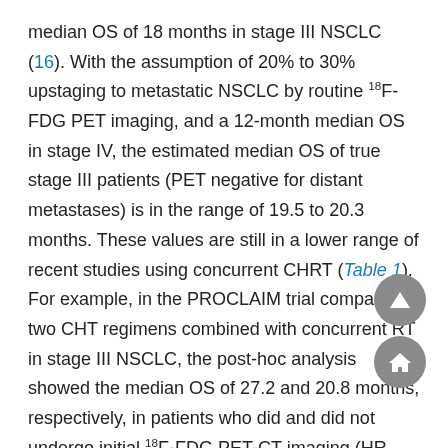median OS of 18 months in stage III NSCLC (16). With the assumption of 20% to 30% upstaging to metastatic NSCLC by routine 18F-FDG PET imaging, and a 12-month median OS in stage IV, the estimated median OS of true stage III patients (PET negative for distant metastases) is in the range of 19.5 to 20.3 months. These values are still in a lower range of recent studies using concurrent CHRT (Table 1). For example, in the PROCLAIM trial comparing two CHT regimens combined with concurrent RT in stage III NSCLC, the post-hoc analysis showed the median OS of 27.2 and 20.8 months, respectively, in patients who did and did not undergo initial 18F-FDG PET-CT imaging (HR =0.81; P=0.13) (17).
Brain imaging
The incidence of asymptomatic brain metastases at presentation in stage III NSCLC ranges between 10% and 20%, and is relatively common in lung adenocarcinoma (18,19). Improved survival of locally advanced NSCLC by virtue of modern